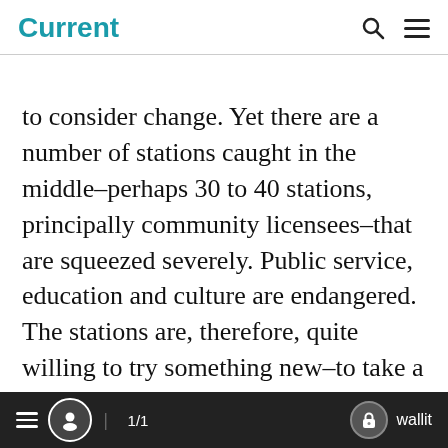Current
to consider change. Yet there are a number of stations caught in the middle–perhaps 30 to 40 stations, principally community licensees–that are squeezed severely. Public service, education and culture are endangered. The stations are, therefore, quite willing to try something new–to take a risk if that's what PTV Weekend amounts to. Further, the people who manage these stations are confident that means can be found to run
≡  👤  1/1  🔒 wallit